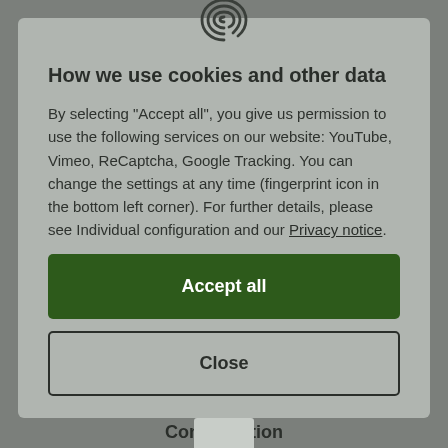[Figure (illustration): Fingerprint icon at top center of modal dialog]
How we use cookies and other data
By selecting "Accept all", you give us permission to use the following services on our website: YouTube, Vimeo, ReCaptcha, Google Tracking. You can change the settings at any time (fingerprint icon in the bottom left corner). For further details, please see Individual configuration and our Privacy notice.
Accept all
Close
Configuration